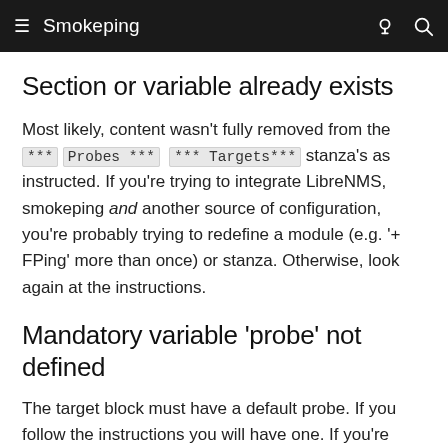≡  Smokeping  💡 🔍
Section or variable already exists
Most likely, content wasn't fully removed from the *** Probes *** *** Targets*** stanza's as instructed. If you're trying to integrate LibreNMS, smokeping and another source of configuration, you're probably trying to redefine a module (e.g. '+ FPing' more than once) or stanza. Otherwise, look again at the instructions.
Mandatory variable 'probe' not defined
The target block must have a default probe. If you follow the instructions you will have one. If you're trying to integrate LibreNMS, smokeping and another source of configuration, you need to make sure there are no duplicate